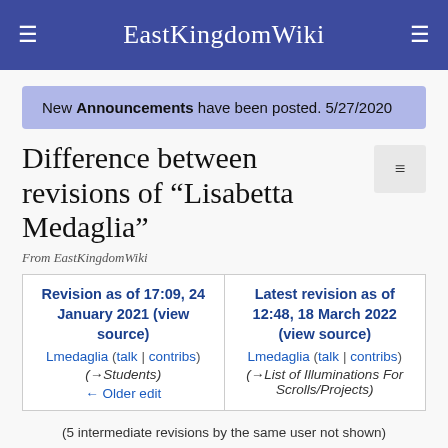EastKingdomWiki
New Announcements have been posted. 5/27/2020
Difference between revisions of "Lisabetta Medaglia"
From EastKingdomWiki
| Revision as of 17:09, 24 January 2021 (view source) | Latest revision as of 12:48, 18 March 2022 (view source) |
| --- | --- |
| Lmedaglia (talk | contribs) | Lmedaglia (talk | contribs) |
| (→Students) | (→List of Illuminations For Scrolls/Projects) |
| ← Older edit |  |
(5 intermediate revisions by the same user not shown)